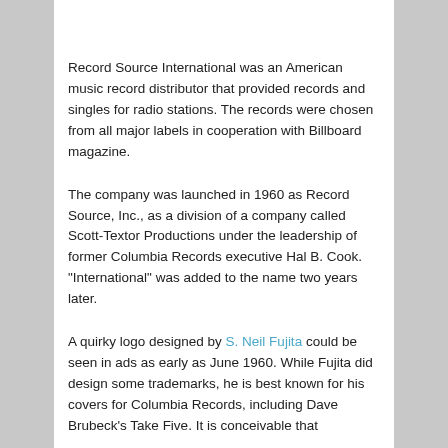Record Source International was an American music record distributor that provided records and singles for radio stations. The records were chosen from all major labels in cooperation with Billboard magazine.
The company was launched in 1960 as Record Source, Inc., as a division of a company called Scott-Textor Productions under the leadership of former Columbia Records executive Hal B. Cook. "International" was added to the name two years later.
A quirky logo designed by S. Neil Fujita could be seen in ads as early as June 1960. While Fujita did design some trademarks, he is best known for his covers for Columbia Records, including Dave Brubeck's Take Five. It is conceivable that